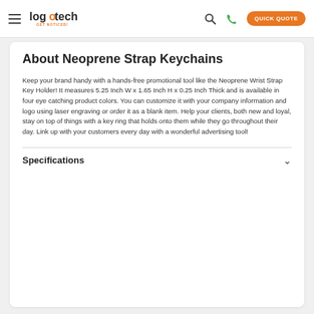logotech GET NOTICED! [search] [phone] QUICK QUOTE
About Neoprene Strap Keychains
Keep your brand handy with a hands-free promotional tool like the Neoprene Wrist Strap Key Holder! It measures 5.25 Inch W x 1.65 Inch H x 0.25 Inch Thick and is available in four eye catching product colors. You can customize it with your company information and logo using laser engraving or order it as a blank item. Help your clients, both new and loyal, stay on top of things with a key ring that holds onto them while they go throughout their day. Link up with your customers every day with a wonderful advertising tool!
Specifications